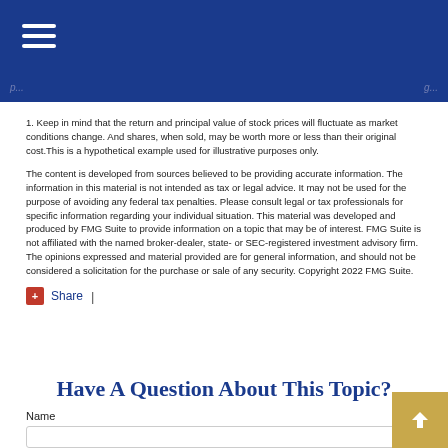1. Keep in mind that the return and principal value of stock prices will fluctuate as market conditions change. And shares, when sold, may be worth more or less than their original cost.This is a hypothetical example used for illustrative purposes only.
The content is developed from sources believed to be providing accurate information. The information in this material is not intended as tax or legal advice. It may not be used for the purpose of avoiding any federal tax penalties. Please consult legal or tax professionals for specific information regarding your individual situation. This material was developed and produced by FMG Suite to provide information on a topic that may be of interest. FMG Suite is not affiliated with the named broker-dealer, state- or SEC-registered investment advisory firm. The opinions expressed and material provided are for general information, and should not be considered a solicitation for the purchase or sale of any security. Copyright 2022 FMG Suite.
Share |
Have A Question About This Topic?
Name